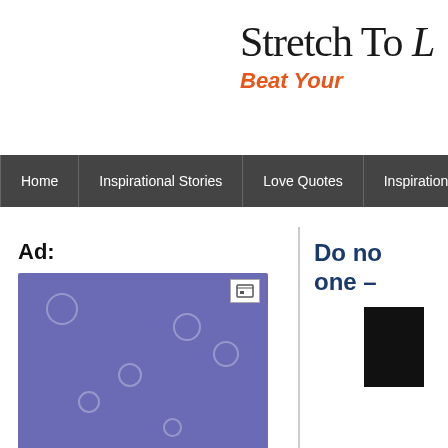Stretch To — Beat Your
[Figure (screenshot): Navigation bar with menu items: Home, Inspirational Stories, Love Quotes, Inspirational One Lin…]
Ad:
[Figure (illustration): Purple/blue advertisement banner with scattered circles and a small icon in top right]
Do no one –